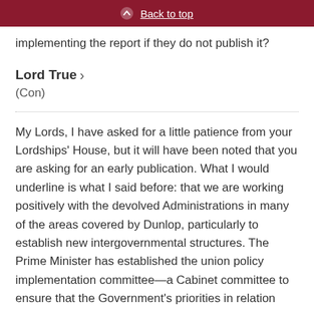Back to top
implementing the report if they do not publish it?
Lord True
(Con)
My Lords, I have asked for a little patience from your Lordships' House, but it will have been noted that you are asking for an early publication. What I would underline is what I said before: that we are working positively with the devolved Administrations in many of the areas covered by Dunlop, particularly to establish new intergovernmental structures. The Prime Minister has established the union policy implementation committee—a Cabinet committee to ensure that the Government's priorities in relation to the United Kingdom are delivered, and combining